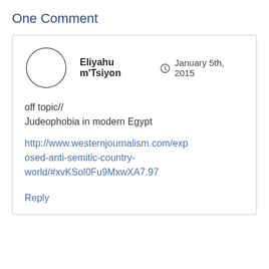One Comment
Eliyahu m'Tsiyon  January 5th, 2015
off topic//
Judeophobia in modern Egypt
http://www.westernjournalism.com/exposed-anti-semitic-country-world/#xvKSol0Fu9MxwXA7.97
Reply